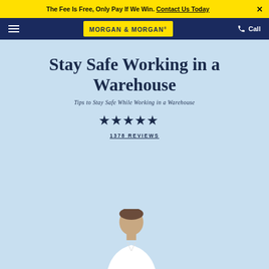The Fee Is Free, Only Pay If We Win. Contact Us Today
[Figure (logo): Morgan & Morgan law firm logo — yellow background with dark blue bold text reading MORGAN & MORGAN]
Stay Safe Working in a Warehouse
Tips to Stay Safe While Working in a Warehouse
[Figure (other): Five black star rating symbols]
1378 REVIEWS
[Figure (photo): Partial photo of a man's head and shoulders appearing at the bottom of the page, wearing a white shirt]